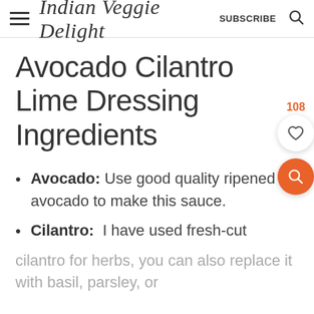Indian Veggie Delight  SUBSCRIBE
Avocado Cilantro Lime Dressing Ingredients
Avocado: Use good quality ripened avocado to make this sauce.
Cilantro: I have used fresh-cut
cilantro for herbs, you can also replace it with basil, parsley, or